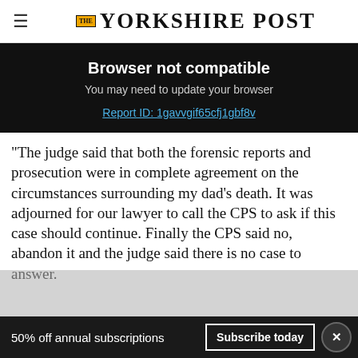THE YORKSHIRE POST
Browser not compatible
You may need to update your browser
Report ID: 1gavvgif65cfj1gbf8v
"The judge said that both the forensic reports and prosecution were in complete agreement on the circumstances surrounding my dad’s death. It was adjourned for our lawyer to call the CPS to ask if this case should continue. Finally the CPS said no, abandon it and the judge said there is no case to answer.
50% off annual subscriptions  Subscribe today